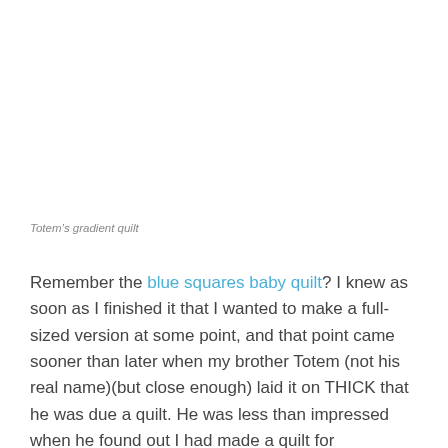[Figure (photo): Large image area at the top of the page, appears to be a quilt photo (white/blank area as image not visible in this crop)]
Totem’s gradient quilt
Remember the blue squares baby quilt? I knew as soon as I finished it that I wanted to make a full-sized version at some point, and that point came sooner than later when my brother Totem (not his real name)(but close enough) laid it on THICK that he was due a quilt. He was less than impressed when he found out I had made a quilt for